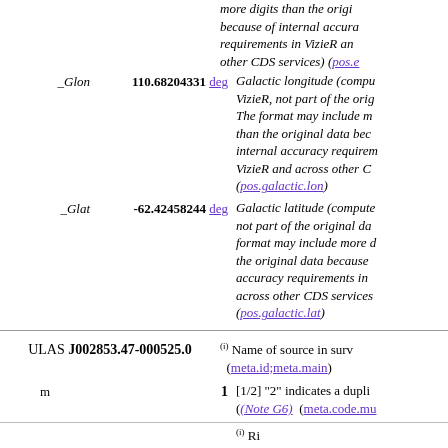more digits than the original because of internal accuracy requirements in VizieR and other CDS services) (pos.e...)
| Name | Value | Description |
| --- | --- | --- |
| _Glon | 110.68204331 deg | Galactic longitude (computed by VizieR, not part of the original data. The format may include more digits than the original data because of internal accuracy requirements in VizieR and across other CDS services) (pos.galactic.lon) |
| _Glat | -62.42458244 deg | Galactic latitude (computed by VizieR, not part of the original data. The format may include more digits than the original data because of internal accuracy requirements in VizieR and across other CDS services) (pos.galactic.lat) |
| ULAS J002853.47-000525.0 |  | (i) Name of source in survey (meta.id;meta.main) |
| m | 1 | [1/2] "2" indicates a duplicate (Note G6) (meta.code.mu...) |
| RAJ2000 | ... | (i) Right ascension (J2000...) |